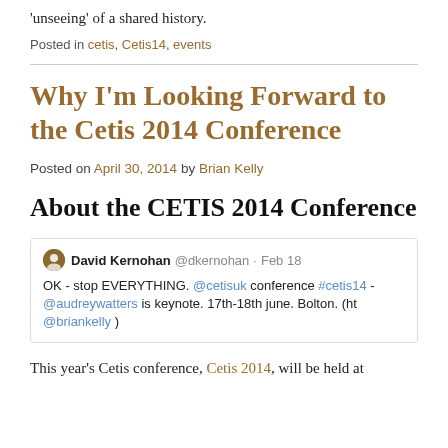'unseeing' of a shared history.
Posted in cetis, Cetis14, events
Why I'm Looking Forward to the Cetis 2014 Conference
Posted on April 30, 2014 by Brian Kelly
About the CETIS 2014 Conference
[Figure (screenshot): Embedded tweet from David Kernohan @dkernohan · Feb 18: OK - stop EVERYTHING. @cetisuk conference #cetis14 - @audreywatters is keynote. 17th-18th june. Bolton. (ht @briankelly )]
This year's Cetis conference, Cetis 2014, will be held at